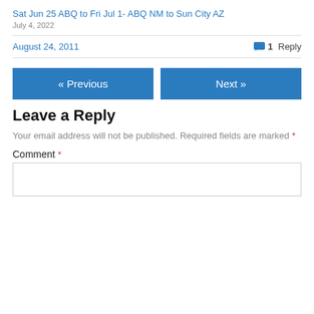Sat Jun 25 ABQ to Fri Jul 1- ABQ NM to Sun City AZ
July 4, 2022
August 24, 2011
1 Reply
« Previous
Next »
Leave a Reply
Your email address will not be published. Required fields are marked *
Comment *